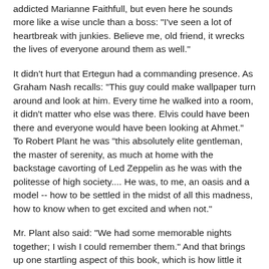addicted Marianne Faithfull, but even here he sounds more like a wise uncle than a boss: "I've seen a lot of heartbreak with junkies. Believe me, old friend, it wrecks the lives of everyone around them as well."
It didn't hurt that Ertegun had a commanding presence. As Graham Nash recalls: "This guy could make wallpaper turn around and look at him. Every time he walked into a room, it didn't matter who else was there. Elvis could have been there and everyone would have been looking at Ahmet." To Robert Plant he was "this absolutely elite gentleman, the master of serenity, as much at home with the backstage cavorting of Led Zeppelin as he was with the politesse of high society.... He was, to me, an oasis and a model -- how to be settled in the midst of all this madness, how to know when to get excited and when not."
Mr. Plant also said: "We had some memorable nights together; I wish I could remember them." And that brings up one startling aspect of this book, which is how little it startles. Late in the book, there is a reference to Ertegun's "always unbridled sexual appetites," but in an age of tell-all